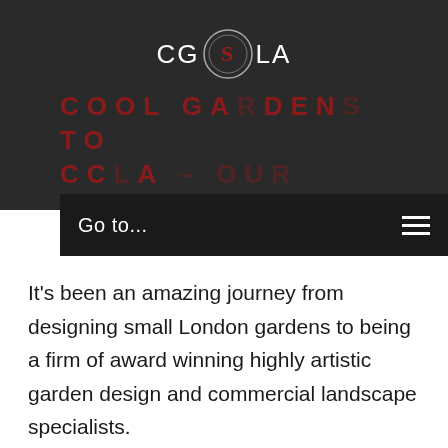[Figure (logo): CGLA logo with circular S emblem in the center, white text on dark background]
COOL GARDENS TO CCLA – OUR $OURNEY
Go to...
It's been an amazing journey from designing small London gardens to being a firm of award winning highly artistic garden design and commercial landscape specialists.